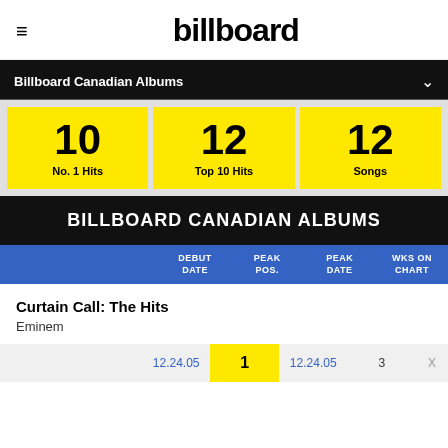billboard
Billboard Canadian Albums
10 No. 1 Hits
12 Top 10 Hits
12 Songs
BILLBOARD CANADIAN ALBUMS
| DEBUT DATE | PEAK POS. | PEAK DATE | WKS ON CHART |
| --- | --- | --- | --- |
| Curtain Call: The Hits | Eminem | 12.24.05 | 1 | 12.24.05 | 3 |